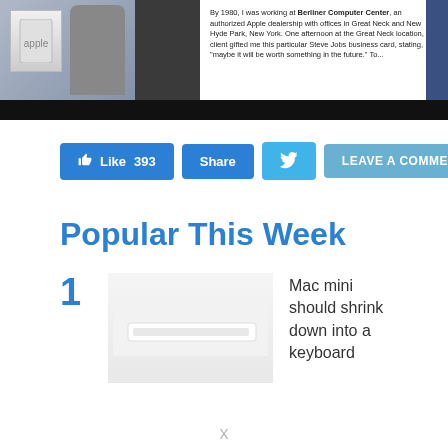[Figure (photo): Banner image showing Apple dealership photo with person, Apple logo signage, dark background strip, and text about Berliner Computer Center authorized Apple dealership in Great Neck and New Hyde Park, New York, mentioning Steve Jobs business card.]
Like 393  Share  [Twitter icon]  LEAVE A COMMENT
Popular This Week
1  Mac mini should shrink down into a keyboard